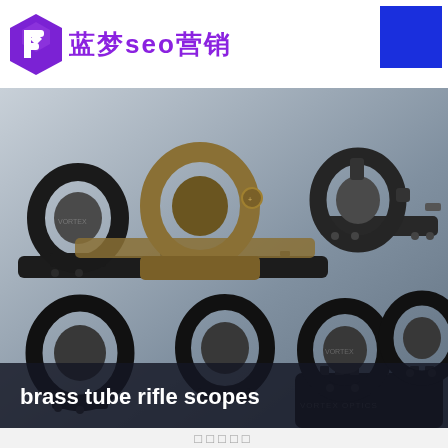[Figure (logo): Blue dream SEO marketing logo with purple P icon and Chinese text 蓝梦seo营销]
[Figure (photo): Multiple black rifle scope mounts and rings displayed on white background]
brass tube rifle scopes
□□□□□
□□□□□□□□□□□□□□□□□□□□□□□□□□□□□□□□□□□□□□□□□□□□□□□□□□□□□□□□□□□□□□□□□□□□□□□□□□□□□□□□□□□□□□□□□□□□□□□□□□□□
crown brass tuba mouthpiece
external thr
Copper pipe enterprise
copper pipe expor